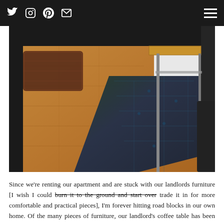Social media icons: Twitter, Instagram, Pinterest, Email | Hamburger menu
[Figure (photo): Interior room photo showing wooden laminate flooring, a dark blue/green patterned rug under a metal-framed coffee table with a wooden top, and a dark wicker basket in the background left.]
Since we're renting our apartment and are stuck with our landlords furniture [I wish I could burn it to the ground and start over trade it in for more comfortable and practical pieces], I'm forever hitting road blocks in our own home. Of the many pieces of furniture, our landlord's coffee table has been driving me up the